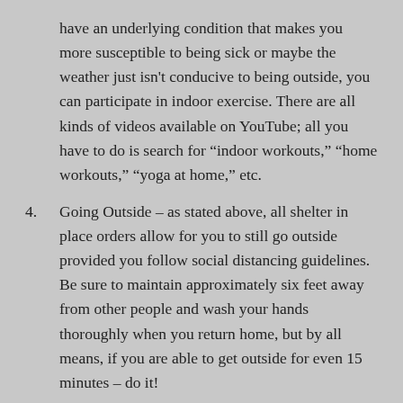have an underlying condition that makes you more susceptible to being sick or maybe the weather just isn't conducive to being outside, you can participate in indoor exercise. There are all kinds of videos available on YouTube; all you have to do is search for “indoor workouts,” “home workouts,” “yoga at home,” etc.
4. Going Outside – as stated above, all shelter in place orders allow for you to still go outside provided you follow social distancing guidelines. Be sure to maintain approximately six feet away from other people and wash your hands thoroughly when you return home, but by all means, if you are able to get outside for even 15 minutes – do it!
5. (partial, cut off)